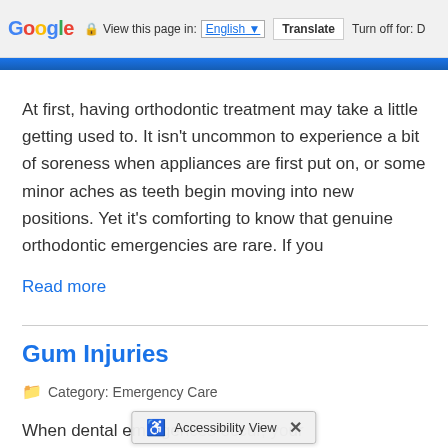Google  View this page in: English  Translate  Turn off for: D
At first, having orthodontic treatment may take a little getting used to. It isn't uncommon to experience a bit of soreness when appliances are first put on, or some minor aches as teeth begin moving into new positions. Yet it's comforting to know that genuine orthodontic emergencies are rare. If you
Read more
Gum Injuries
Category: Emergency Care
When dental emergencies occur, your